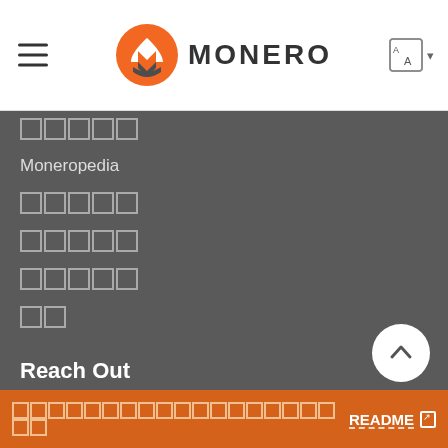MONERO
□□□□□
Moneropedia
□□□□□
□□□□□
□□□□□
□□
Reach Out
Workgroups
□□□
Mailing List
□□□□□□□□□□□□□□□□□□□□ README